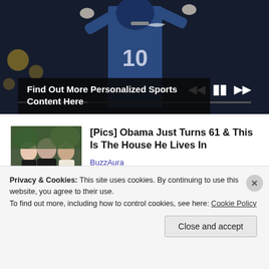[Figure (screenshot): Video player showing a football player in a blue jersey with number 0, dark background, with playback controls (previous, pause, next) and a progress bar at the bottom.]
Find Out More Personalized Sports Content Here
[Figure (photo): Thumbnail photo of Obama family group portrait — three people including Barack Obama in a plaid shirt.]
[Pics] Obama Just Turns 61 & This Is The House He Lives In
BuzzAura
Privacy & Cookies: This site uses cookies. By continuing to use this website, you agree to their use.
To find out more, including how to control cookies, see here: Cookie Policy
Close and accept